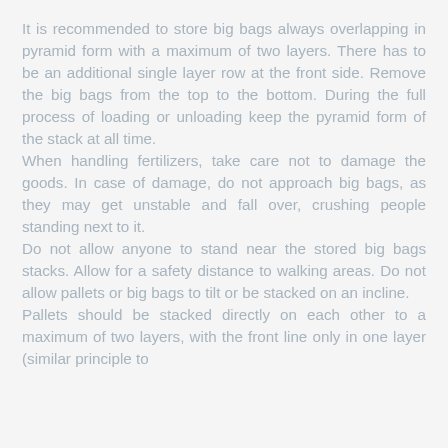It is recommended to store big bags always overlapping in pyramid form with a maximum of two layers. There has to be an additional single layer row at the front side. Remove the big bags from the top to the bottom. During the full process of loading or unloading keep the pyramid form of the stack at all time. When handling fertilizers, take care not to damage the goods. In case of damage, do not approach big bags, as they may get unstable and fall over, crushing people standing next to it. Do not allow anyone to stand near the stored big bags stacks. Allow for a safety distance to walking areas. Do not allow pallets or big bags to tilt or be stacked on an incline. Pallets should be stacked directly on each other to a maximum of two layers, with the front line only in one layer (similar principle to